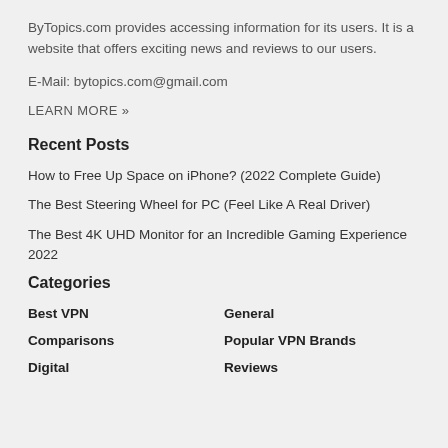ByTopics.com provides accessing information for its users. It is a website that offers exciting news and reviews to our users.
E-Mail: bytopics.com@gmail.com
LEARN MORE »
Recent Posts
How to Free Up Space on iPhone? (2022 Complete Guide)
The Best Steering Wheel for PC (Feel Like A Real Driver)
The Best 4K UHD Monitor for an Incredible Gaming Experience 2022
Categories
Best VPN
General
Comparisons
Popular VPN Brands
Digital
Reviews